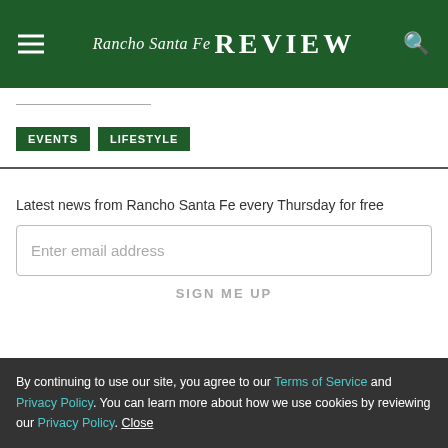Rancho Santa Fe Review
EVENTS  LIFESTYLE
Latest news from Rancho Santa Fe every Thursday for free
Enter email address
SIGN ME UP
By continuing to use our site, you agree to our Terms of Service and Privacy Policy. You can learn more about how we use cookies by reviewing our Privacy Policy. Close